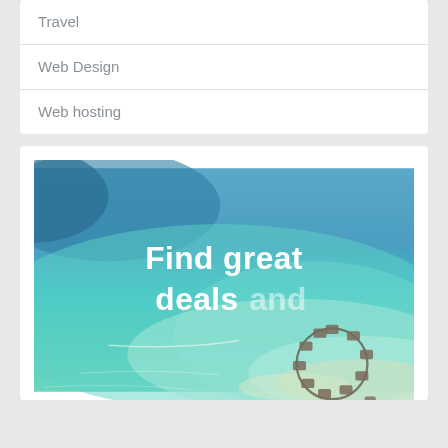Travel
Web Design
Web hosting
[Figure (photo): Aerial view of tropical island with overwater bungalows and turquoise lagoon, with overlaid text 'Find great deals and']